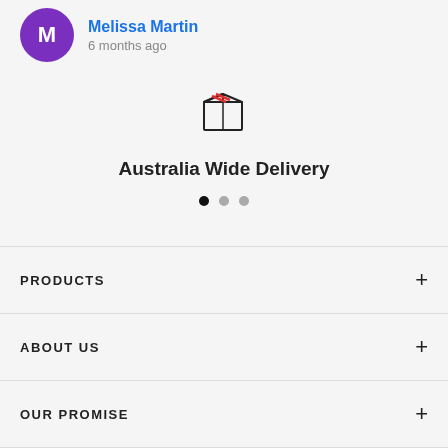Melissa Martin
6 months ago
[Figure (illustration): Box/package icon with red lines on top, representing delivery]
Australia Wide Delivery
[Figure (other): Three dots pagination indicator, first dot active (dark), two inactive (grey)]
PRODUCTS
ABOUT US
OUR PROMISE
SHOP BY LOCATION